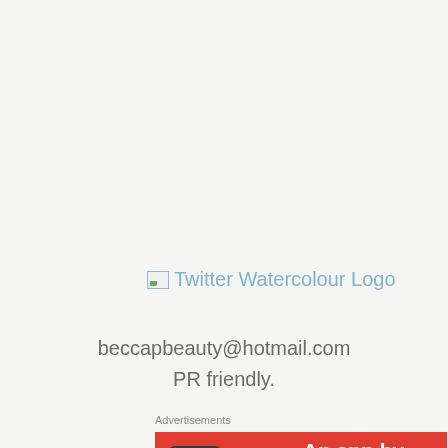[Figure (logo): Broken image placeholder showing Twitter Watercolour Logo link in light blue text]
beccapbeauty@hotmail.com
PR friendly.
Advertisements
[Figure (screenshot): Red advertisement banner showing a phone on the left and white bold text reading 'An app by listeners, for' on the right]